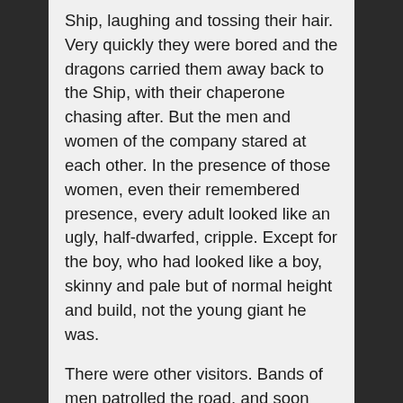Ship, laughing and tossing their hair. Very quickly they were bored and the dragons carried them away back to the Ship, with their chaperone chasing after. But the men and women of the company stared at each other. In the presence of those women, even their remembered presence, every adult looked like an ugly, half-dwarfed, cripple. Except for the boy, who had looked like a boy, skinny and pale but of normal height and build, not the young giant he was.
There were other visitors. Bands of men patrolled the road, and soon they had an escort of twenty, armed Taloses, men sheathed in grey metal and carrying each hand-and-a-half weapon of a sort none